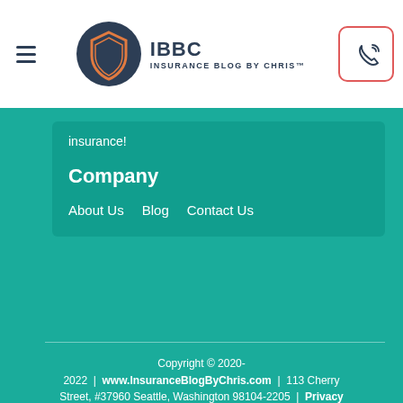IBBC INSURANCE BLOG BY CHRIS™
insurance!
Company
About Us
Blog
Contact Us
Copyright © 2020-2022 | www.InsuranceBlogByChris.com | 113 Cherry Street, #37960 Seattle, Washington 98104-2205 | Privacy Policy | Terms & Conditions | CCPA
Disclaimer: www.InsuranceBlogByChris.com strives to present the most up-to-date and comprehensive information on saving money on insurance possible. This information may be different than what you see when you visit an insurance provider, insurance agency, or insurance company website. All insurance rates, products, and